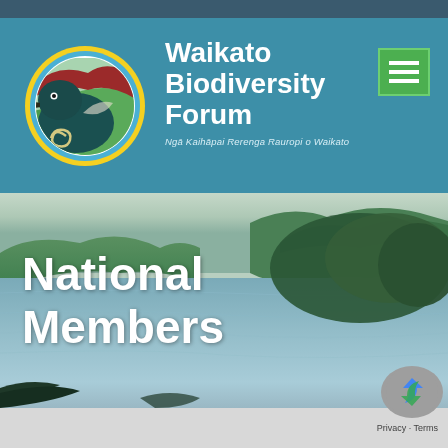[Figure (logo): Waikato Biodiversity Forum logo: circular badge with a stylized huia bird (dark teal) against green hills, red/brown crest, yellow and blue circular border]
Waikato Biodiversity Forum
Ngā Kaihāpai Rerenga Rauropi o Waikato
[Figure (photo): Aerial photograph of a wide river or lake bordered by green hills and trees, under a light sky]
National Members